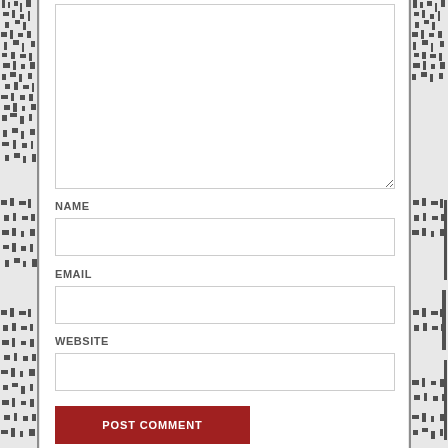[Figure (other): Decorative textured left border with black and white ink/woodcut pattern]
NAME
EMAIL
WEBSITE
[Figure (other): Decorative textured right border with black and white ink/woodcut pattern]
POST COMMENT (button, partially visible at bottom)